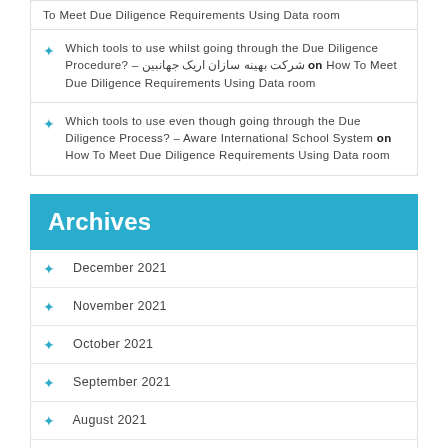To Meet Due Diligence Requirements Using Data room
Which tools to use whilst going through the Due Diligence Procedure? – شرکت بهینه سازان اریک جهانبین on How To Meet Due Diligence Requirements Using Data room
Which tools to use even though going through the Due Diligence Process? – Aware International School System on How To Meet Due Diligence Requirements Using Data room
Archives
December 2021
November 2021
October 2021
September 2021
August 2021
July 2021